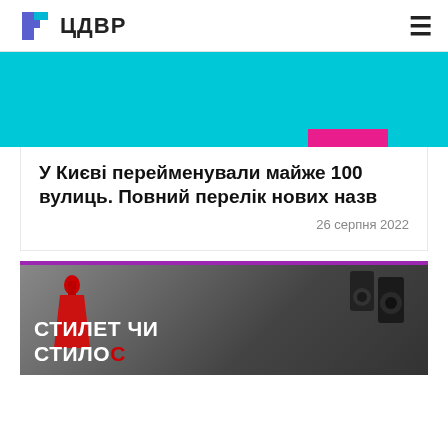ЦДВР
[Figure (illustration): Cyan/teal colored banner image with a magenta accent bar at bottom right]
У Києві перейменували майже 100 вулиць. Повний перелік нових назв
26 серпня 2022
[Figure (illustration): Dark greyscale photo with red dress/figure silhouette. Overlay text: СТИЛЕТ ЧИ СТИЛОС]
СТИЛЕТ ЧИ СТИЛОС